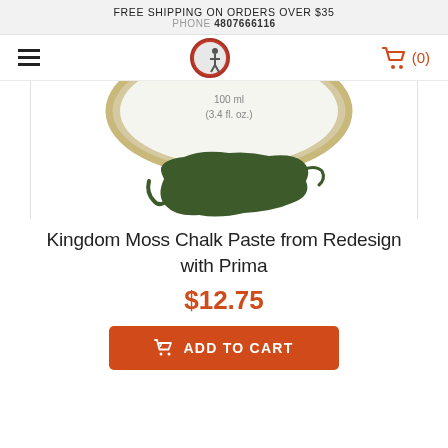FREE SHIPPING ON ORDERS OVER $35
PHONE 4807666116
[Figure (photo): Navigation bar with hamburger menu icon on left, circular logo with person in center, orange shopping cart icon with (0) on right]
[Figure (photo): Product image showing top of a round tin can labeled with 100 ml (3.4 fl. oz.) and a dark green chalk paste paint swatch below it]
Kingdom Moss Chalk Paste from Redesign with Prima
$12.75
ADD TO CART